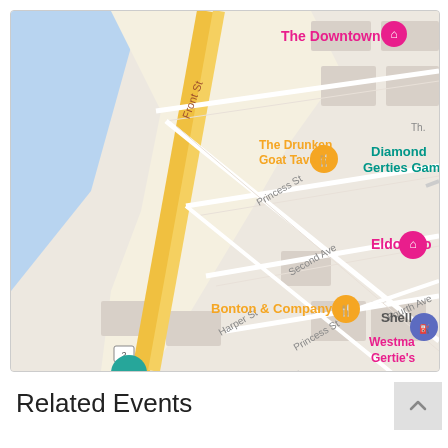[Figure (map): Google Maps street map showing downtown area with streets: Front St, Princess St, Second Ave, Fourth Ave, Harper St. Points of interest labeled: The Downtown (pink marker), The Drunken Goat Taverna (orange food marker), Diamond Gerties Gambling, Eldorado (pink hotel marker), Bonton & Company (orange food marker), Shell (blue marker), Westma Gertie's (pink text). A yellow diagonal road (Front St) runs through the center. Blue water area visible in top-left. Road number 2 marker shown.]
Related Events